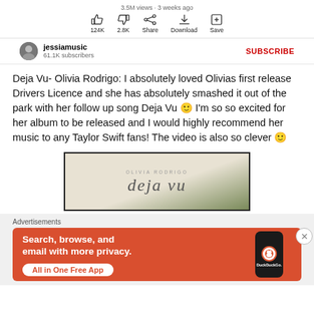3.5M views · 3 weeks ago
124K  2.8K  Share  Download  Save
jessiamusic
61.1K subscribers
SUBSCRIBE
Deja Vu- Olivia Rodrigo: I absolutely loved Olivias first release Drivers Licence and she has absolutely smashed it out of the park with her follow up song Deja Vu 🙂 I'm so so excited for her album to be released and I would highly recommend her music to any Taylor Swift fans! The video is also so clever 🙂
[Figure (screenshot): Thumbnail of Olivia Rodrigo Deja Vu video/album art showing handwritten style text on a light background with a dark border]
Advertisements
[Figure (illustration): DuckDuckGo advertisement banner with orange background. Text: Search, browse, and email with more privacy. All in One Free App. Shows a phone with DuckDuckGo logo.]